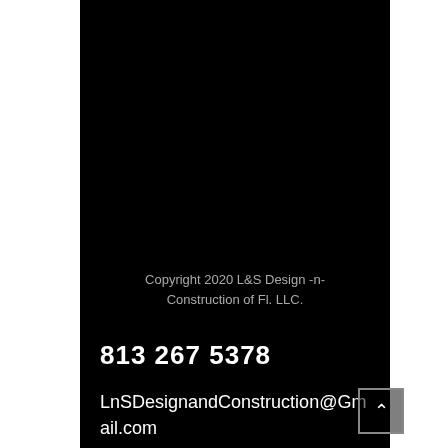Copyright 2020 L&S Design -n- Construction of Fl. LLC.
813 267 5378
LnSDesignandConstruction@Gmail.com